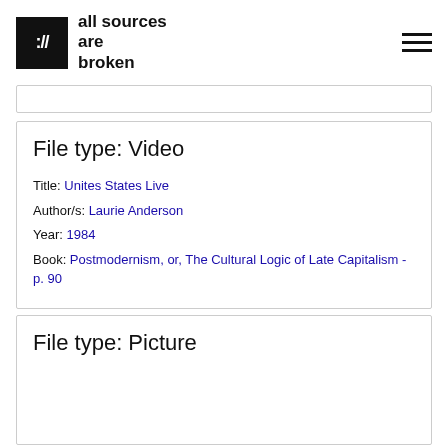all sources are broken
File type: Video
Title: Unites States Live
Author/s: Laurie Anderson
Year: 1984
Book: Postmodernism, or, The Cultural Logic of Late Capitalism - p. 90
File type: Picture